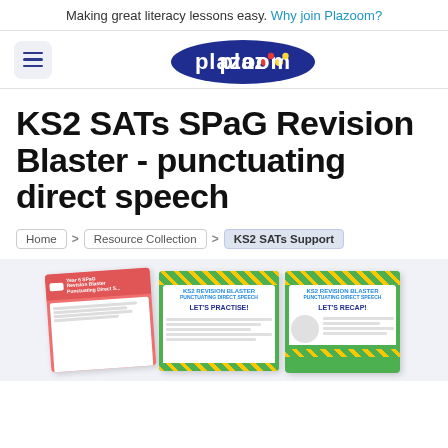Making great literacy lessons easy. Why join Plazoom?
[Figure (logo): Plazoom logo — dark blue rounded blob shape with the word 'plazoom' in white, the two o's styled with coloured dots (red, yellow, blue)]
KS2 SATs SPaG Revision Blaster - punctuating direct speech
Home > Resource Collection > KS2 SATs Support
[Figure (photo): Preview of educational resource sheets for KS2 SATs SPaG Revision Blaster on punctuating direct speech, showing colourful worksheet pages with 'Let's Practise!' and 'Let's Recap!' sections]